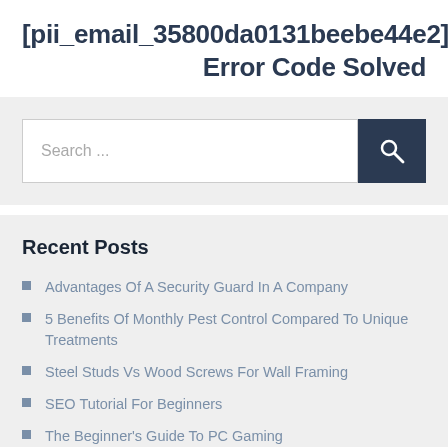[pii_email_35800da0131beebe44e2] Error Code Solved
[Figure (screenshot): Search bar with text 'Search ...' and a dark blue search button with magnifying glass icon]
Recent Posts
Advantages Of A Security Guard In A Company
5 Benefits Of Monthly Pest Control Compared To Unique Treatments
Steel Studs Vs Wood Screws For Wall Framing
SEO Tutorial For Beginners
The Beginner's Guide To PC Gaming